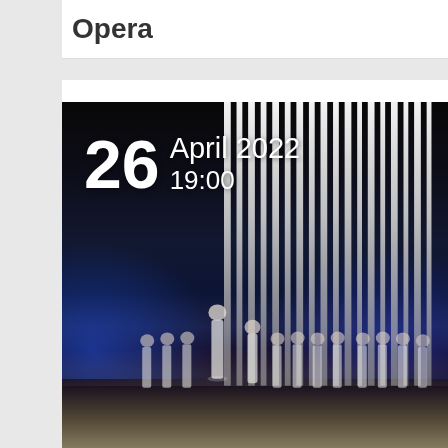Opera
[Figure (photo): Opera stage performance photo showing performers in white robes with vertical light strips as backdrop, blue stage lighting. Date overlay reads '26 April 2022 19:00' in white text.]